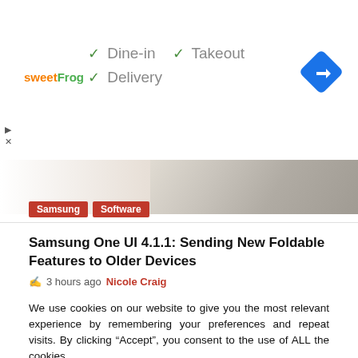[Figure (infographic): Advertisement banner for sweetFrog showing checkmarks for Dine-in, Takeout, and Delivery options, with a blue diamond navigation icon on the right]
[Figure (photo): Partial view of a tablet/smartphone device against a light beige background]
Samsung
Software
Samsung One UI 4.1.1: Sending New Foldable Features to Older Devices
3 hours ago  Nicole Craig
We use cookies on our website to give you the most relevant experience by remembering your preferences and repeat visits. By clicking “Accept”, you consent to the use of ALL the cookies.
Do not sell my personal information.
Cookie Settings  Accept